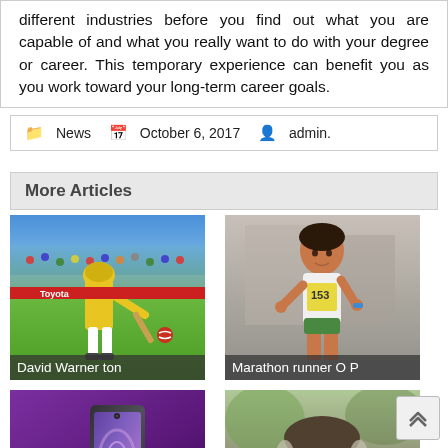different industries before you find out what you are capable of and what you really want to do with your degree or career. This temporary experience can benefit you as you work toward your long-term career goals.
📁 News 📅 October 6, 2017 👤 admin.
More Articles
[Figure (photo): Cricket player (David Warner) batting in yellow Australian uniform on cricket field with crowd in background]
David Warner ton
[Figure (photo): Female marathon runner wearing bib number 153 running on street]
Marathon runner O P
[Figure (photo): Lenovo/Motorola smartphone on purple background]
Lenovo to launch
[Figure (photo): Older Indian man with glasses and white beard outdoors — Amitabh Bachchan]
Syska enters wire